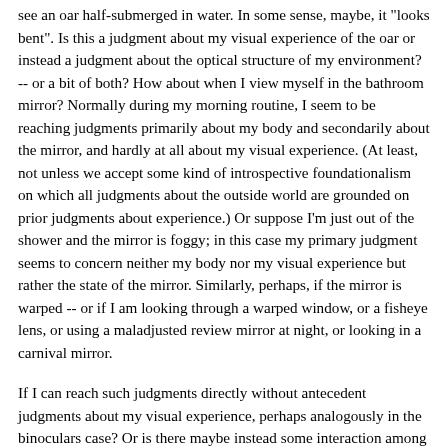see an oar half-submerged in water. In some sense, maybe, it "looks bent". Is this a judgment about my visual experience of the oar or instead a judgment about the optical structure of my environment? -- or a bit of both? How about when I view myself in the bathroom mirror? Normally during my morning routine, I seem to be reaching judgments primarily about my body and secondarily about the mirror, and hardly at all about my visual experience. (At least, not unless we accept some kind of introspective foundationalism on which all judgments about the outside world are grounded on prior judgments about experience.) Or suppose I'm just out of the shower and the mirror is foggy; in this case my primary judgment seems to concern neither my body nor my visual experience but rather the state of the mirror. Similarly, perhaps, if the mirror is warped -- or if I am looking through a warped window, or a fisheye lens, or using a maladjusted review mirror at night, or looking in a carnival mirror.
If I can reach such judgments directly without antecedent judgments about my visual experience, perhaps analogously in the binoculars case? Or is there maybe instead some interaction among phenomenal judgments about experience